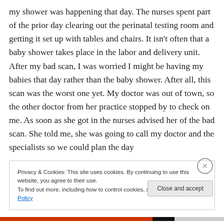my shower was happening that day.  The nurses spent part of the prior day clearing out the perinatal testing room and getting it set up with tables and chairs.  It isn't often that a baby shower takes place in the labor and delivery unit. After my bad scan, I was worried I might be having my babies that day rather than the baby shower.  After all, this scan was the worst one yet.  My doctor was out of town, so the other doctor from her practice stopped by to check on me.  As soon as she got in the nurses advised her of the bad scan.  She told me, she was going to call my doctor and the specialists so we could plan the day
Privacy & Cookies: This site uses cookies. By continuing to use this website, you agree to their use.
To find out more, including how to control cookies, see here: Cookie Policy